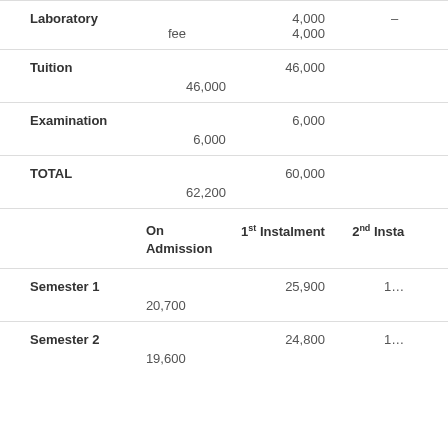|  | On Admission | 1st Instalment | 2nd Instalment |
| --- | --- | --- | --- |
| Laboratory fee | 4,000 | 4,000 | – |
| Tuition | 46,000 | 46,000 |  |
| Examination | 6,000 | 6,000 |  |
| TOTAL | 62,200 | 60,000 |  |
|  | On Admission | 1st Instalment | 2nd Insta |
| Semester 1 | 20,700 | 25,900 | 1… |
| Semester 2 | 19,600 | 24,800 | 1… |